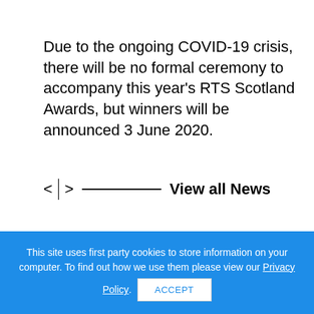Due to the ongoing COVID-19 crisis, there will be no formal ceremony to accompany this year's RTS Scotland Awards, but winners will be announced 3 June 2020.
< | >  ————————————————  View all News
This site uses first party cookies to store information on your computer. To find out how we use them please view our Privacy Policy. ACCEPT